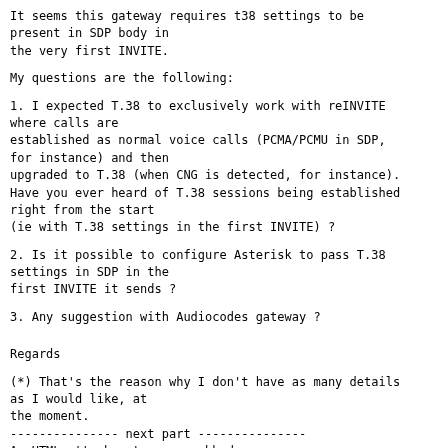It seems this gateway requires t38 settings to be present in SDP body in
the very first INVITE.
My questions are the following:
1. I expected T.38 to exclusively work with reINVITE where calls are
established as normal voice calls (PCMA/PCMU in SDP, for instance) and then
upgraded to T.38 (when CNG is detected, for instance).
Have you ever heard of T.38 sessions being established right from the start
(ie with T.38 settings in the first INVITE) ?
2. Is it possible to configure Asterisk to pass T.38 settings in SDP in the
first INVITE it sends ?
3. Any suggestion with Audiocodes gateway ?
Regards
(*) That's the reason why I don't have as many details as I would like, at
the moment.
--------------- next part ---------------
An HTML attachment was scrubbed...
URL: <http://lists.digium.com/pipermail/asterisk-